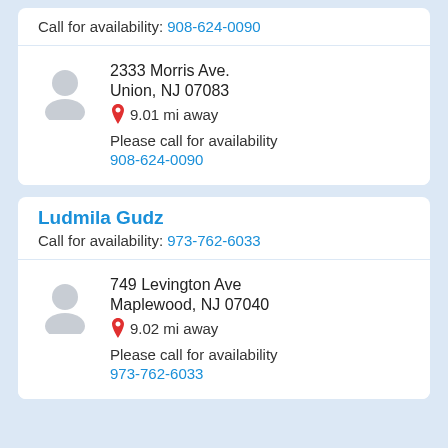Call for availability: 908-624-0090
2333 Morris Ave.
Union, NJ 07083
9.01 mi away
Please call for availability
908-624-0090
Ludmila Gudz
Call for availability: 973-762-6033
749 Levington Ave
Maplewood, NJ 07040
9.02 mi away
Please call for availability
973-762-6033